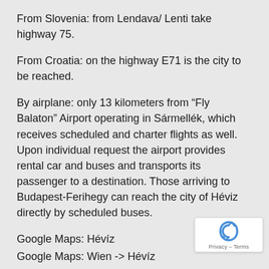From Slovenia: from Lendava/ Lenti take highway 75.
From Croatia: on the highway E71 is the city to be reached.
By airplane: only 13 kilometers from “Fly Balaton” Airport operating in Sármellék, which receives scheduled and charter flights as well. Upon individual request the airport provides rental car and buses and transports its passenger to a destination. Those arriving to Budapest-Ferihegy can reach the city of Héviz directly by scheduled buses.
Google Maps: Hévíz
Google Maps: Wien -> Hévíz
Google Maps: Graz -> Hévíz